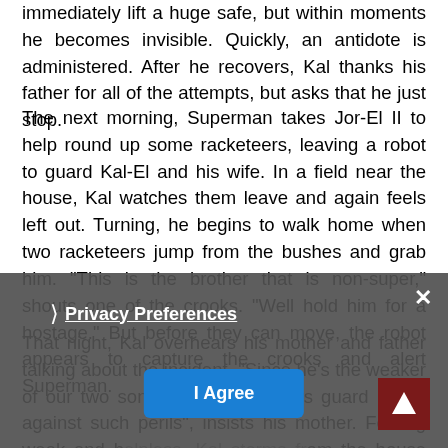immediately lift a huge safe, but within moments he becomes invisible. Quickly, an antidote is administered. After he recovers, Kal thanks his father for all of the attempts, but asks that he just stop.
The next morning, Superman takes Jor-El II to help round up some racketeers, leaving a robot to guard Kal-El and his wife. In a field near the house, Kal watches them leave and again feels left out. Turning, he begins to walk home when two racketeers jump from the bushes and grab him. "This is the brother that is non-super," shouts one of the crooks. "Well hold him for a hostage." But before they can move, the robot appears to capture the crooks and alert Superman.
That night, Kal overhears his mother and father talking about the incident. "Since he's the weaker of our two sons, you must always guard Kal-El against such perils", insists his mother. Feeling weak and helpless, Kal storms from the house and decides to run away. Lightning illuminates his face, and the falling rain from a summer shower hides the tears falling down his cheeks as he runs down the road. Realizing his son